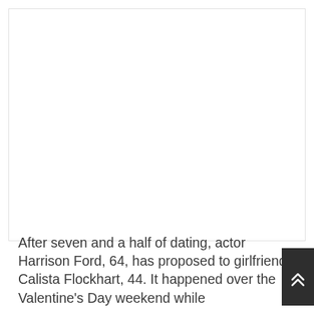[Figure (photo): Large white/blank image area at the top of the page]
After seven and a half of dating, actor Harrison Ford, 64, has proposed to girlfriend Calista Flockhart, 44. It happened over the Valentine's Day weekend while